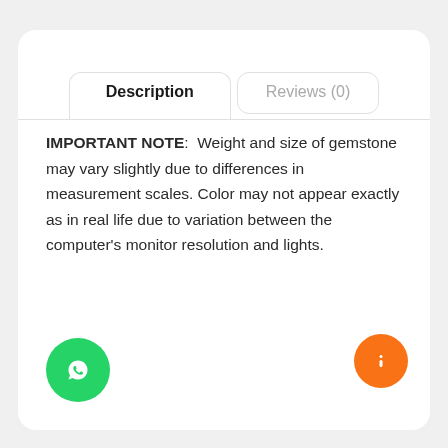Description
Reviews (0)
IMPORTANT NOTE:  Weight and size of gemstone may vary slightly due to differences in measurement scales. Color may not appear exactly as in real life due to variation between the computer's monitor resolution and lights.
[Figure (illustration): WhatsApp green circular button with phone/chat icon]
[Figure (illustration): Orange circular button with info/arrow icon]